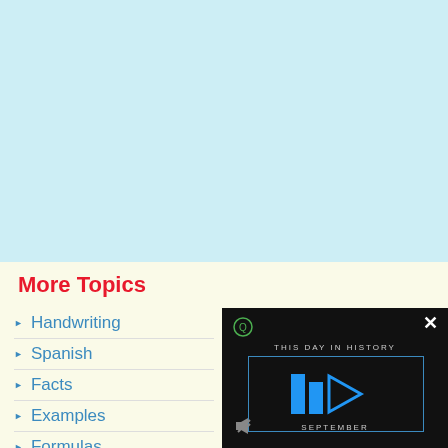[Figure (other): Light blue background area filling the top portion of the page]
More Topics
Handwriting
Spanish
Facts
Examples
Formulas
[Figure (screenshot): Video overlay showing 'THIS DAY IN HISTORY' with blue play button icon, mute icon, and close X button, on dark background]